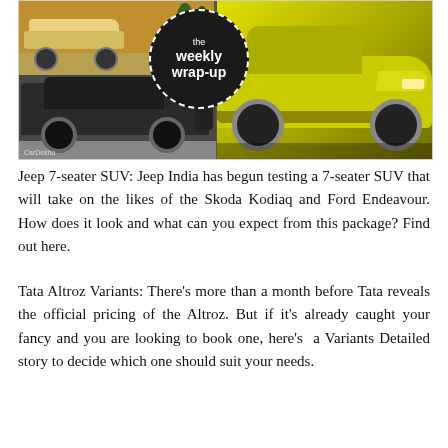[Figure (photo): Collage of automotive photos with 'the weekly wrap-up' badge. Top left: a car on a road/field background. Bottom left: a dark camouflaged 7-seater SUV on a road. Right: a yellow Kia concept/production SUV render.]
Jeep 7-seater SUV: Jeep India has begun testing a 7-seater SUV that will take on the likes of the Skoda Kodiaq and Ford Endeavour. How does it look and what can you expect from this package? Find out here.
Tata Altroz Variants: There's more than a month before Tata reveals the official pricing of the Altroz. But if it's already caught your fancy and you are looking to book one, here's a Variants Detailed story to decide which one should suit your needs.